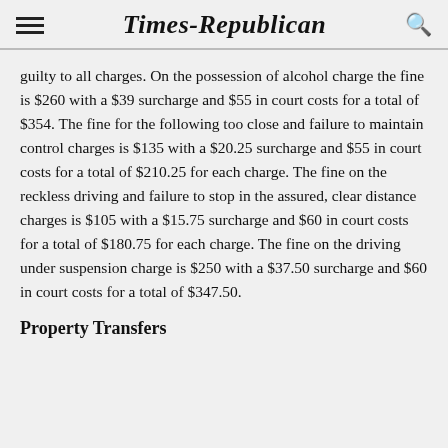Times-Republican
guilty to all charges. On the possession of alcohol charge the fine is $260 with a $39 surcharge and $55 in court costs for a total of $354. The fine for the following too close and failure to maintain control charges is $135 with a $20.25 surcharge and $55 in court costs for a total of $210.25 for each charge. The fine on the reckless driving and failure to stop in the assured, clear distance charges is $105 with a $15.75 surcharge and $60 in court costs for a total of $180.75 for each charge. The fine on the driving under suspension charge is $250 with a $37.50 surcharge and $60 in court costs for a total of $347.50.
Property Transfers